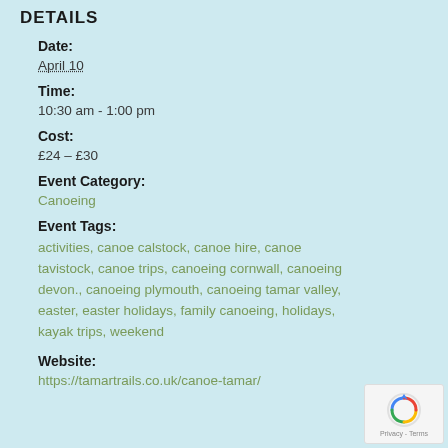DETAILS
Date:
April 10
Time:
10:30 am - 1:00 pm
Cost:
£24 – £30
Event Category:
Canoeing
Event Tags:
activities, canoe calstock, canoe hire, canoe tavistock, canoe trips, canoeing cornwall, canoeing devon., canoeing plymouth, canoeing tamar valley, easter, easter holidays, family canoeing, holidays, kayak trips, weekend
Website:
https://tamartrails.co.uk/canoe-tamar/